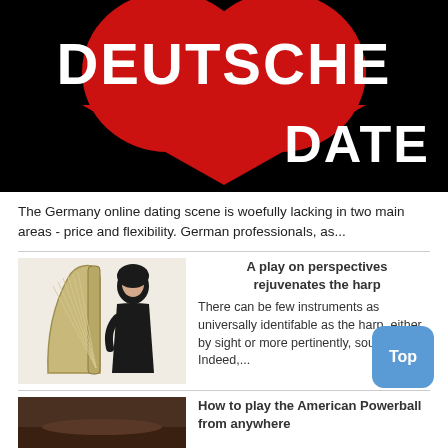[Figure (logo): Deutsche Date logo: black background with large red heart shape; white bold text 'DEUTSCHE' at top and 'DATE' at bottom right]
The Germany online dating scene is woefully lacking in two main areas - price and flexibility. German professionals, as...
A play on perspectives rejuvenates the harp
[Figure (photo): Woman in black dress standing next to a gold/beige harp, white background]
There can be few instruments as universally identifable as the harp, either by sight or more pertinently, sound. Indeed,...
How to play the American Powerball from anywhere